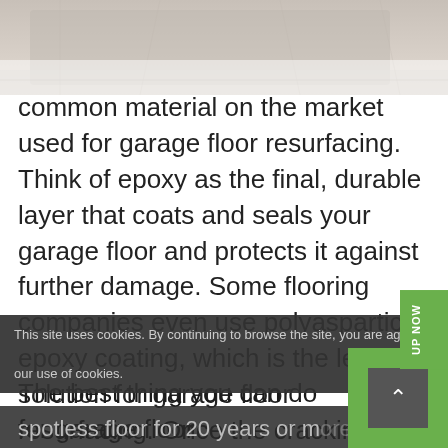[Figure (photo): Partial photo of a textured surface (concrete or similar material), shown cropped at the top of the page.]
common material on the market used for garage floor resurfacing. Think of epoxy as the final, durable layer that coats and seals your garage floor and protects it against further damage. Some flooring companies even use polyaspartic epoxy coating, which is the leading solution for garage floor resurfacing. Once the cracking and pitting is coated with polyaspartic epoxy, you can expect a spotless floor for 20 years or more. The best thing you can do for garage floor
This site uses cookies. By continuing to browse the site, you are agreeing to our use of cookies.